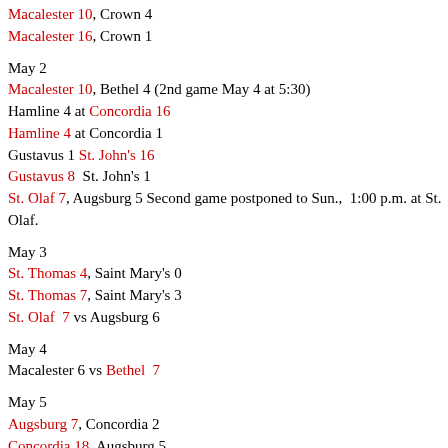Macalester 10, Crown 4
Macalester 16, Crown 1
May 2
Macalester 10, Bethel 4 (2nd game May 4 at 5:30)
Hamline 4 at Concordia 16
Hamline 4 at Concordia 1
Gustavus 1 St. John's 16
Gustavus 8  St. John's 1
St. Olaf 7, Augsburg 5 Second game postponed to Sun.,  1:00 p.m. at St. Olaf.
May 3
St. Thomas 4, Saint Mary's 0
St. Thomas 7, Saint Mary's 3
St. Olaf  7 vs Augsburg 6
May 4
Macalester 6 vs Bethel  7
May 5
Augsburg 7, Concordia 2
Concordia 18, Augsburg 5
St. Olaf 8 at Bethel 0
St. Olaf 9 at Bethel 10
Gustavus 8 at Gustavus 3